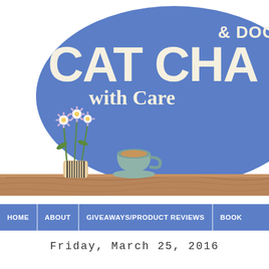[Figure (logo): Cat & Dog Chat with Caren blog logo: large blue oval with cream/off-white bold text reading '& DOG!' above 'CAT CHAT' in very large letters, and 'with Care' in cursive below. A flower vase with daisies and a tea cup sit on a wooden shelf in front of the oval.]
HOME | ABOUT | GIVEAWAYS/PRODUCT REVIEWS | BOOK
Friday, March 25, 2016